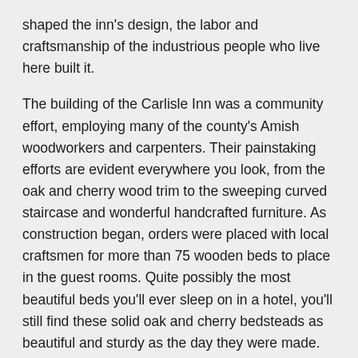shaped the inn's design, the labor and craftsmanship of the industrious people who live here built it.
The building of the Carlisle Inn was a community effort, employing many of the county's Amish woodworkers and carpenters. Their painstaking efforts are evident everywhere you look, from the oak and cherry wood trim to the sweeping curved staircase and wonderful handcrafted furniture. As construction began, orders were placed with local craftsmen for more than 75 wooden beds to place in the guest rooms. Quite possibly the most beautiful beds you'll ever sleep on in a hotel, you'll still find these solid oak and cherry bedsteads as beautiful and sturdy as the day they were made.
Modern Amenities
Your peaceful, comfortable stay includes complimentary evening snacks, continental breakfast (or upgrade it to a hot breakfast at Der Dutchman), free wifi, guest computer station,